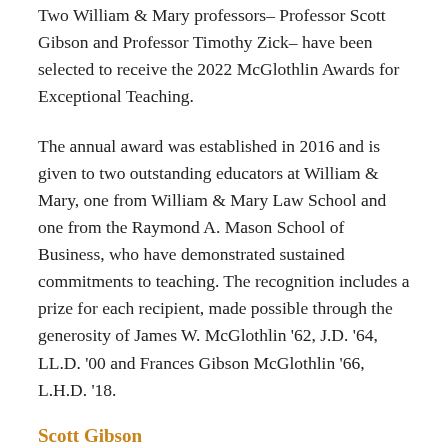Two William & Mary professors– Professor Scott Gibson and Professor Timothy Zick– have been selected to receive the 2022 McGlothlin Awards for Exceptional Teaching.
The annual award was established in 2016 and is given to two outstanding educators at William & Mary, one from William & Mary Law School and one from the Raymond A. Mason School of Business, who have demonstrated sustained commitments to teaching. The recognition includes a prize for each recipient, made possible through the generosity of James W. McGlothlin '62, J.D. '64, LL.D. '00 and Frances Gibson McGlothlin '66, L.H.D. '18.
Scott Gibson
“I am indebted to Jim and Fran for their recognition that excellence in teaching goes to the heart of what